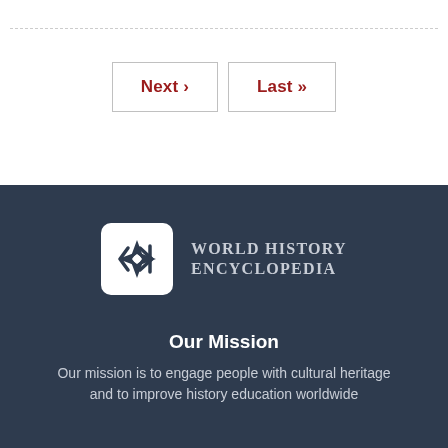Next › | Last »
[Figure (logo): World History Encyclopedia logo — stylized arrow/fish symbol in white on dark square, beside text 'WORLD HISTORY ENCYCLOPEDIA']
Our Mission
Our mission is to engage people with cultural heritage and to improve history education worldwide